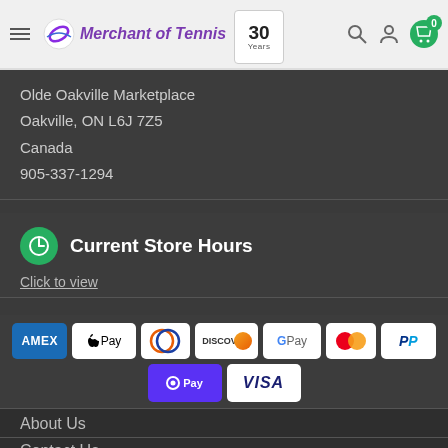Merchant of Tennis — 30 Years
Olde Oakville Marketplace
Oakville, ON L6J 7Z5
Canada
905-337-1294
Current Store Hours
Click to view
[Figure (logo): Payment method logos: AMEX, Apple Pay, Diners Club, Discover, Google Pay, Mastercard, PayPal, Shop Pay (O Pay), Visa]
All Prices are in Canadian Currency
About Us
Contact Us